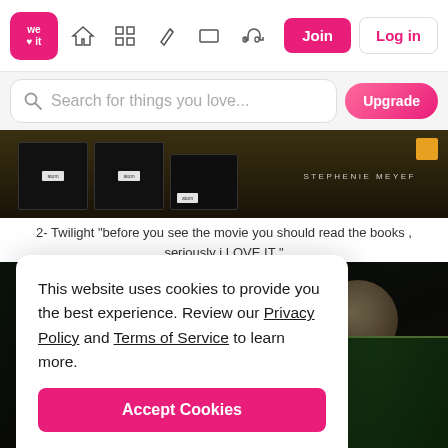[Figure (screenshot): We Heart It website navigation bar with logo, home, grid, pen, card, headphones icons, and Join/Log in buttons]
[Figure (screenshot): Search bar with 'Search for things you love...' placeholder and pink Upgrade button]
[Figure (photo): Dark book spines including Stephenie Meyer books lined up on a shelf]
2- Twilight "before you see the movie you should read the books , seriously i LOVE IT "
[Figure (photo): Dark background with books and a bowl visible]
This website uses cookies to provide you the best experience. Review our Privacy Policy and Terms of Service to learn more.

Accept Cookies

Only users 16 years or older may use We Heart It.